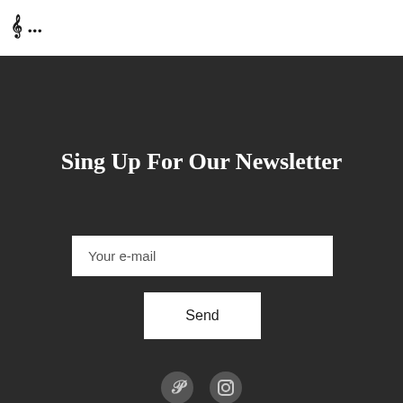[Figure (logo): Website logo at top left]
Sing Up For Our Newsletter
Your e-mail
Send
[Figure (illustration): Social media icons: Pinterest and Instagram]
CONTACT   PRIVACY POLICY   COOKIES POLICY